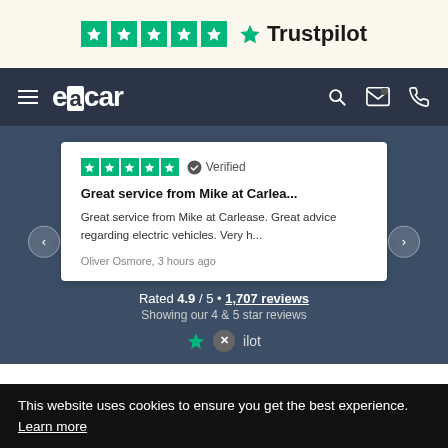[Figure (logo): Trustpilot 5-star rating bar with green star icons and Trustpilot logo on cream/beige background]
[Figure (screenshot): ecCar navigation bar with hamburger menu, brand logo, search, mail, and phone icons on dark background]
[Figure (screenshot): Trustpilot review card showing 5 stars, Verified badge, review title 'Great service from Mike at Carlea...', review text, reviewer name Oliver Osmore 3 hours ago, with left/right navigation arrows. Below: Rated 4.9 / 5 • 1,707 reviews, Showing our 4 & 5 star reviews]
This website uses cookies to ensure you get the best experience. Learn more